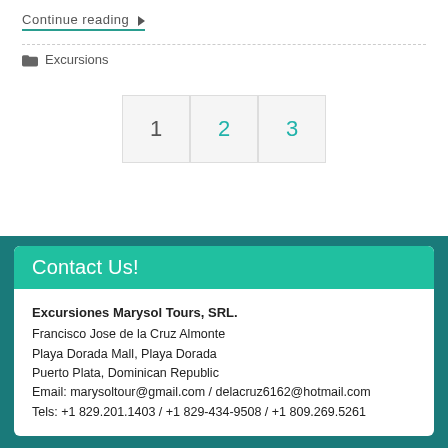Continue reading ▶
🗂 Excursions
1  2  3
Contact Us!
Excursiones Marysol Tours, SRL.
Francisco Jose de la Cruz Almonte
Playa Dorada Mall, Playa Dorada
Puerto Plata, Dominican Republic
Email: marysoltour@gmail.com / delacruz6162@hotmail.com
Tels: +1 829.201.1403 / +1 829-434-9508 / +1 809.269.5261